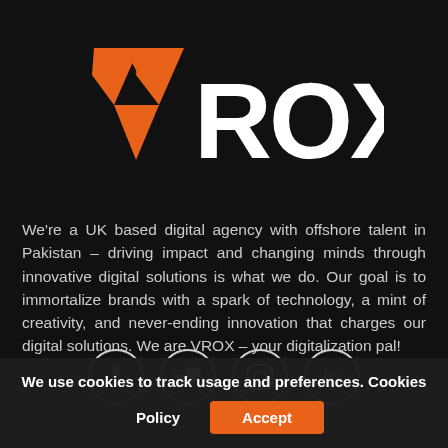[Figure (logo): VROX logo: orange geometric V-arrow shape on left, white bold text 'ROX' on right]
We're a UK based digital agency with offshore talent in Pakistan – driving impact and changing minds through innovative digital solutions is what we do. Our goal is to immortalize brands with a spark of technology, a mint of creativity, and never-ending innovation that charges our digital solutions. We are VROX – your digitalization pal!
[Figure (infographic): Four social media icons in circles: Facebook (f), Twitter (bird), Instagram (camera), LinkedIn (in)]
We use cookies to track usage and preferences. Cookies Policy  Accept